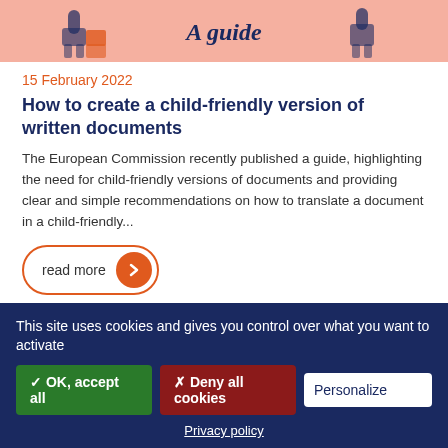[Figure (illustration): Top banner with illustrated figures and text 'A guide' in italic on a pink/salmon background]
15 February 2022
How to create a child-friendly version of written documents
The European Commission recently published a guide, highlighting the need for child-friendly versions of documents and providing clear and simple recommendations on how to translate a document in a child-friendly...
read more
[Figure (photo): Partial photo strip showing what appears to be a room interior with wooden elements]
This site uses cookies and gives you control over what you want to activate
✓ OK, accept all
✗ Deny all cookies
Personalize
Privacy policy